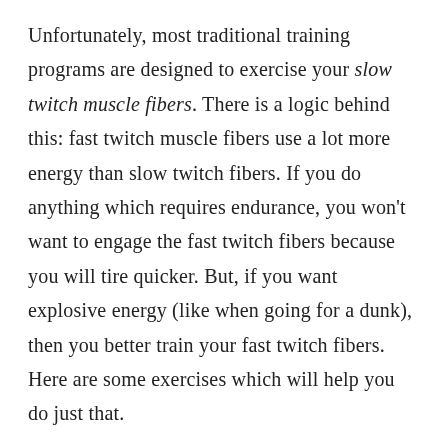Unfortunately, most traditional training programs are designed to exercise your slow twitch muscle fibers. There is a logic behind this: fast twitch muscle fibers use a lot more energy than slow twitch fibers. If you do anything which requires endurance, you won't want to engage the fast twitch fibers because you will tire quicker. But, if you want explosive energy (like when going for a dunk), then you better train your fast twitch fibers. Here are some exercises which will help you do just that.